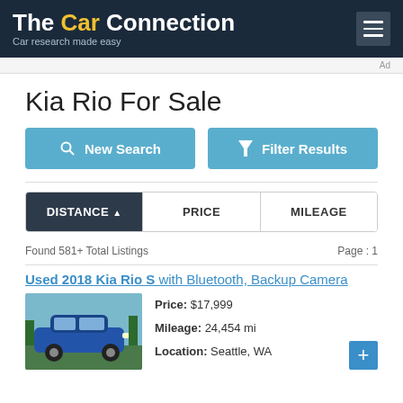The Car Connection — Car research made easy
Kia Rio For Sale
New Search | Filter Results (buttons)
DISTANCE ▲ | PRICE | MILEAGE
Found 581+ Total Listings   Page : 1
Used 2018 Kia Rio S with Bluetooth, Backup Camera
Price: $17,999
Mileage: 24,454 mi
Location: Seattle, WA